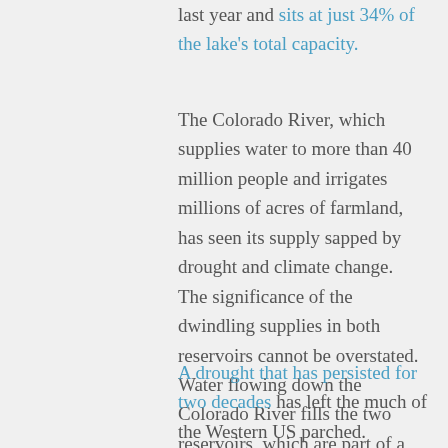last year and sits at just 34% of the lake's total capacity.
The Colorado River, which supplies water to more than 40 million people and irrigates millions of acres of farmland, has seen its supply sapped by drought and climate change. The significance of the dwindling supplies in both reservoirs cannot be overstated. Water flowing down the Colorado River fills the two reservoirs, which are part of a river system that supplies over 40 million people living across seven Western states and Mexico.
A drought that has persisted for two decades has left the much of the Western US parched. In addition to dwindling snowpack, which provides most of the river's water supply, expertos say dry, thirsty soils across the basin are soaking up meltwater, meaning that less makes it into the river system.